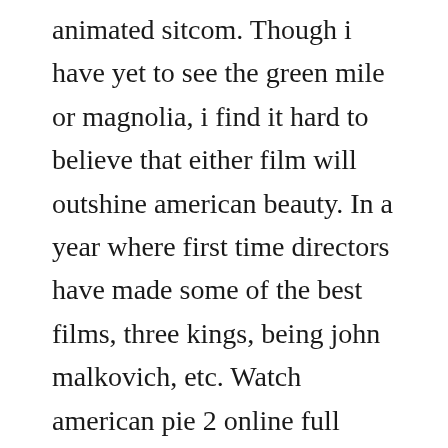animated sitcom. Though i have yet to see the green mile or magnolia, i find it hard to believe that either film will outshine american beauty. In a year where first time directors have made some of the best films, three kings, being john malkovich, etc. Watch american pie 2 online full movie from 2001 yidio. The documentaries cover everything from music and cinema, to literature, religion, politics and physics. Mom and dad subtitles 70 subtitles download movie and tv. Subtitle database subs db subs database download free.